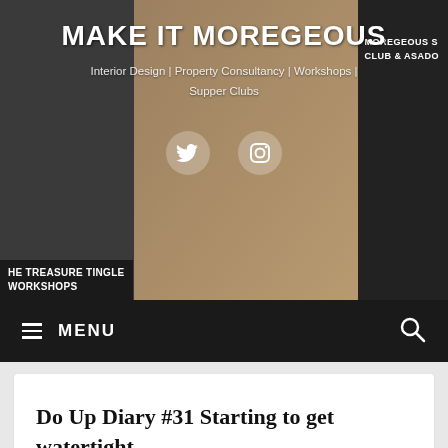[Figure (screenshot): Website header banner for Make It Moregeous showing collage of interior design images with a woman in a pink top posing with arms crossed, overlaid with site title and social media icons]
MAKE IT MOREGEOUS
Interior Design | Property Consultancy | Workshops | Supper Clubs
MENU
Do Up Diary #31 Starting to get watertight